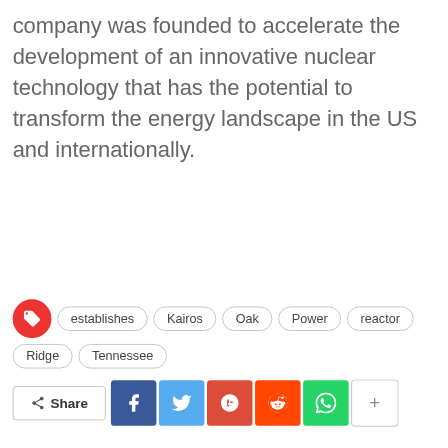company was founded to accelerate the development of an innovative nuclear technology that has the potential to transform the energy landscape in the US and internationally.
establishes · Kairos · Oak · Power · reactor · Ridge · Tennessee
[Figure (infographic): Social share bar with Facebook, Twitter, Google+, Reddit, WhatsApp buttons and a Share label]
[Figure (infographic): Author card for Carmen Lillard — 5927 Posts — 0 Comments, with a photo of a government building dome]
[Figure (other): Scroll-to-top red button with upward arrow]